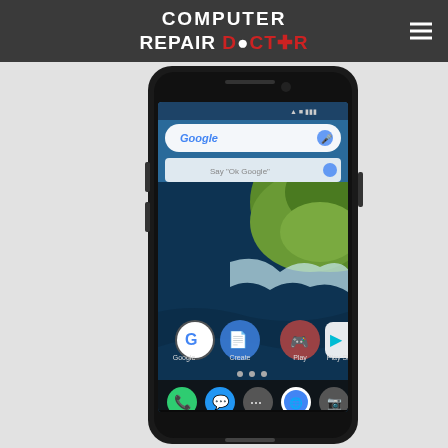COMPUTER REPAIR DOCTOR
[Figure (photo): A Nexus 6P Android smartphone displayed against a light gray background, showing the Google home screen with a coastal aerial wallpaper. The screen shows Google search bar with 'Say Ok Google', and app icons including Google, Create, Play, Play Store on the home screen, plus a bottom dock with Phone, Messages, Apps, Chrome, and Photos icons. Navigation bar visible at the bottom.]